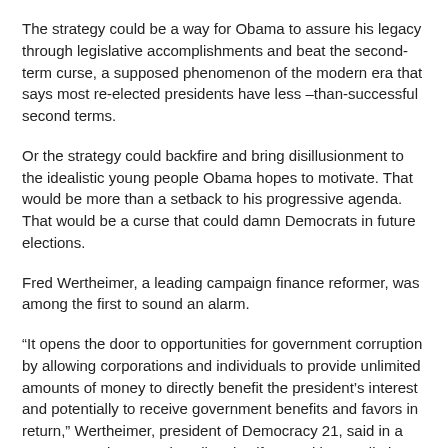The strategy could be a way for Obama to assure his legacy through legislative accomplishments and beat the second-term curse, a supposed phenomenon of the modern era that says most re-elected presidents have less –than-successful second terms.
Or the strategy could backfire and bring disillusionment to the idealistic young people Obama hopes to motivate. That would be more than a setback to his progressive agenda. That would be a curse that could damn Democrats in future elections.
Fred Wertheimer, a leading campaign finance reformer, was among the first to sound an alarm.
“It opens the door to opportunities for government corruption by allowing corporations and individuals to provide unlimited amounts of money to directly benefit the president’s interest and potentially to receive government benefits and favors in return,” Wertheimer, president of Democracy 21, said in a statement. His group describes itself as working to eliminate the undue influence of big money in American politics.
“This would take President Obama about as far away as he could possibly get from the goal he set in 2008 to ‘change the way business is done in